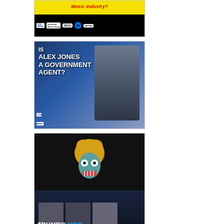[Figure (illustration): Thumbnail image with yellow background and red italic text 'Music Industry?' at top, below are music label logos including Fox News, Universal Music Group, Decca, Warner, Geffen on black background]
[Figure (illustration): Thumbnail image asking 'IS ALEX JONES A GOVERNMENT AGENT?' with photo of man in military uniform, Trump visible in background, flags, Fox News logo]
[Figure (illustration): Composite thumbnail: top half shows cartoon zombie figure with Trump-style golden hair on black background; bottom half shows three real men with text 'TRUMP'S MOB' where MOB is in blue]
[Figure (photo): Partially visible thumbnail showing two people in what appears to be an interview or talk show setting]